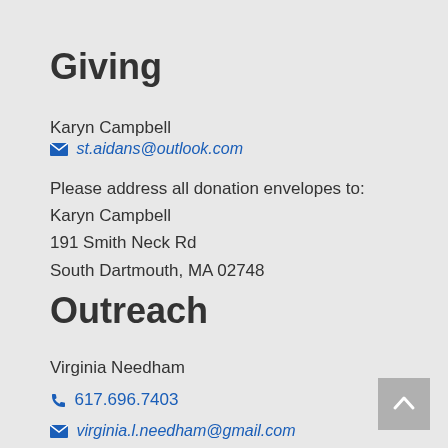Giving
Karyn Campbell
st.aidans@outlook.com
Please address all donation envelopes to:
Karyn Campbell
191 Smith Neck Rd
South Dartmouth, MA 02748
Outreach
Virginia Needham
617.696.7403
virginia.l.needham@gmail.com